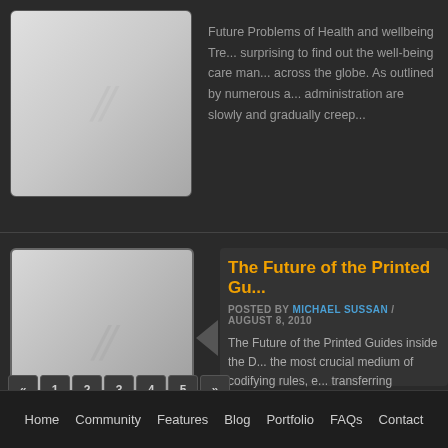[Figure (illustration): Thumbnail placeholder image with double-slash icon, light gray gradient background, rounded corners]
Future Problems of Health and wellbeing Tre... surprising to find out the well-being care man... across the globe. As outlined by numerous a... administration are slowly and gradually creep...
[Figure (illustration): Thumbnail placeholder image with double-slash icon, light gray gradient background, rounded corners and border]
The Future of the Printed Gu...
POSTED BY MICHAEL SUSSAN / AUGUST 8, 2010
The Future of the Printed Guides inside the D... the most crucial medium of codifying rules, e... transferring knowledge. What this means is c... hundred yrs. Over the years, printed...
« 1 2 3 4 5 »
Home   Community   Features   Blog   Portfolio   FAQs   Contact